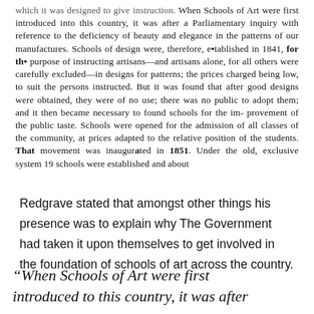which it was designed to give instruction. When Schools of Art were first introduced into this country, it was after a Parliamentary inquiry with reference to the deficiency of beauty and elegance in the patterns of our manufactures. Schools of design were, therefore, established in 1841, for the purpose of instructing artisans—and artisans alone, for all others were carefully excluded—in designs for patterns; the prices charged being low, to suit the persons instructed. But it was found that after good designs were obtained, they were of no use; there was no public to adopt them; and it then became necessary to found schools for the improvement of the public taste. Schools were opened for the admission of all classes of the community, at prices adapted to the relative position of the students. That movement was inaugurated in 1851. Under the old, exclusive system 19 schools were established and about
Redgrave stated that amongst other things his presence was to explain why The Government had taken it upon themselves to get involved in the foundation of schools of art across the country.
“When Schools of Art were first introduced to this country, it was after